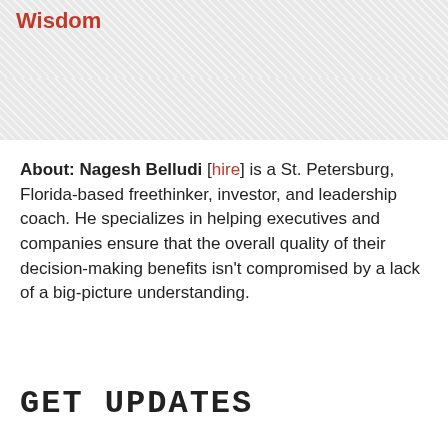Wisdom
About: Nagesh Belludi [hire] is a St. Petersburg, Florida-based freethinker, investor, and leadership coach. He specializes in helping executives and companies ensure that the overall quality of their decision-making benefits isn't compromised by a lack of a big-picture understanding.
GET UPDATES